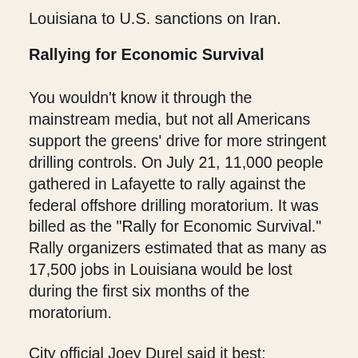Louisiana to U.S. sanctions on Iran.
Rallying for Economic Survival
You wouldn’t know it through the mainstream media, but not all Americans support the greens’ drive for more stringent drilling controls. On July 21, 11,000 people gathered in Lafayette to rally against the federal offshore drilling moratorium. It was billed as the “Rally for Economic Survival.” Rally organizers estimated that as many as 17,500 jobs in Louisiana would be lost during the first six months of the moratorium.
City official Joey Durel said it best: “Louisiana has been a reliable and constant energy source for the United States, producing 22 percent of the nation’s domestic oil...